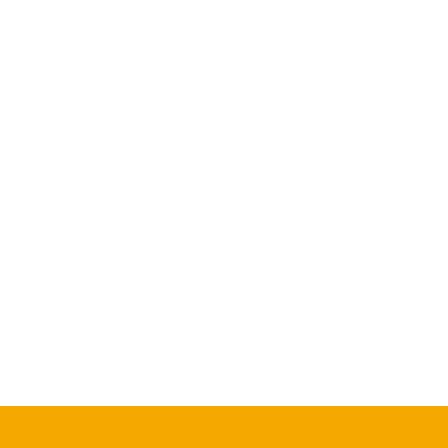The second sea trials of India's first indigenous aircraft carrier IAC (Indigenous Aircraft Carrier) Vikrant began ahead of her anticipated induction into the Indian Navy in August next year. In August, India's largest and most sophisticated warship, the 40,000 tonne aircraft carrier successfully conducted a five-day maiden cruise with a successful attempt.
[Figure (other): Purple/magenta banner overlay with white bold text reading 'Join Our Telegram Group' with a dark border and rounded corners.]
The performance of major systems of the warship was found satisfactory after the first sea trials.
The warship was built at an estimated cost of Rs 23,000 crore, which pushed India into a swarm of countries with the capability to develop state-of-the-art aircraft carriers.
MiG-29K fighter jets, Kamov-31 helicopters and MH-60R multi-role helicopters have been reported to be used in the warship.